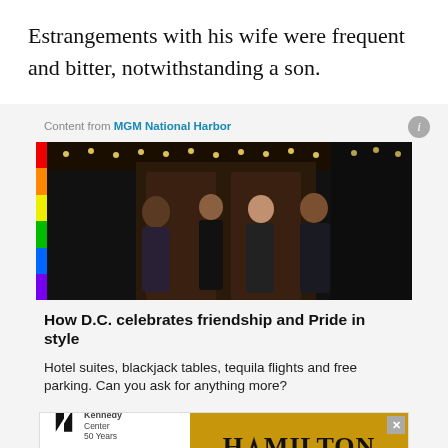Estrangements with his wife were frequent and bitter, notwithstanding a son.
Content from MGM National Harbor
[Figure (photo): Group of four friends (three men and one woman) smiling and walking together in front of an entrance with string lights overhead, with a rainbow vertical strip on the left side of the image.]
How D.C. celebrates friendship and Pride in style
Hotel suites, blackjack tables, tequila flights and free parking. Can you ask for anything more?
[Figure (other): Hamilton advertisement banner: The Kennedy Center 50 Years, August 2–October 9, Get Tickets, HAMILTON logo on golden background with close button.]